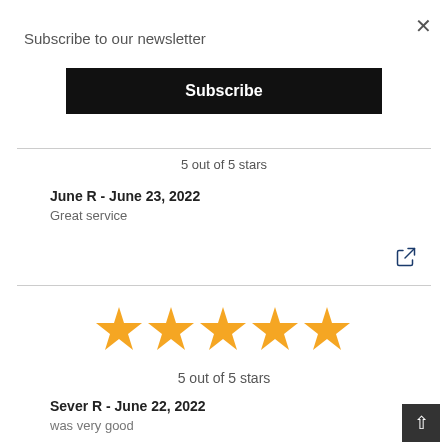Subscribe to our newsletter
Subscribe
5 out of 5 stars
June R - June 23, 2022
Great service
[Figure (illustration): Share icon (arrow pointing right out of a box)]
[Figure (illustration): Five gold stars rating]
5 out of 5 stars
Sever R - June 22, 2022
was very good